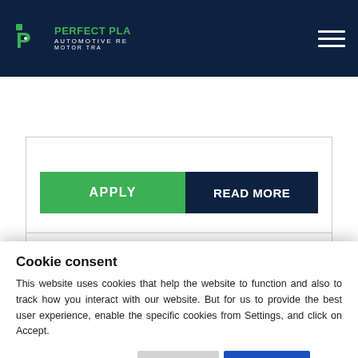PERFECT PLA AUTOMOTIVE RE MOTOR TRA
APPLY
READ MORE
Parts Manager
Cheltenham Gloucestershire
SALARY
Cookie consent
This website uses cookies that help the website to function and also to track how you interact with our website. But for us to provide the best user experience, enable the specific cookies from Settings, and click on Accept.
Preferences ▾
Reject All
Accept All